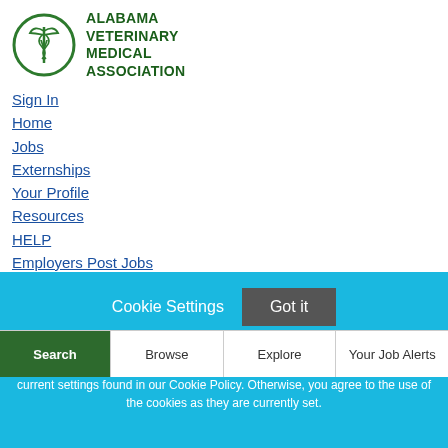[Figure (logo): Alabama Veterinary Medical Association logo — circular green emblem with caduceus, and green bold text reading ALABAMA VETERINARY MEDICAL ASSOCIATION]
Sign In
Home
Jobs
Externships
Your Profile
Resources
HELP
Employers Post Jobs
Cookie Settings  Got it

We use cookies so that we can remember you and understand how you use our site. If you do not agree with our use of cookies, please change the current settings found in our Cookie Policy. Otherwise, you agree to the use of the cookies as they are currently set.